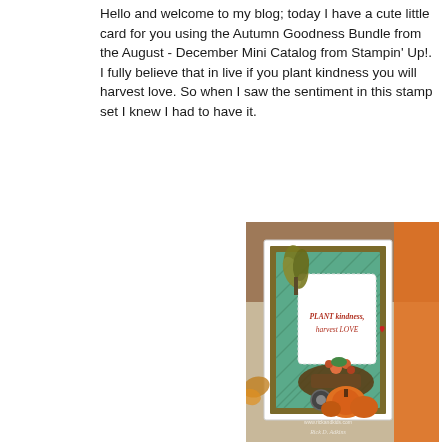Hello and welcome to my blog; today I have a cute little card for you using the Autumn Goodness Bundle from the August - December Mini Catalog from Stampin' Up!.  I fully believe that in live if you plant kindness you will harvest love.  So when I saw the sentiment in this stamp set I knew I had to have it.
[Figure (photo): A handmade greeting card featuring the Autumn Goodness Bundle from Stampin' Up!. The card has a teal/green diagonal striped background with a gold/olive border. It shows stamped images of a wheat bundle, a wheelbarrow filled with autumn flowers, and harvest vegetables including pumpkins. A white scalloped rectangle panel contains the sentiment 'PLANT kindness, harvest LOVE' in red/brown lettering with a small red heart. The card has a watermark 'www.rickandkids.com' and signature 'Rick D. Adkins'. The card is photographed against a blurred background with autumn colors and orange elements visible.]